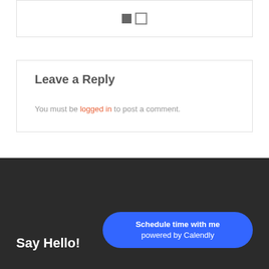[Figure (other): Two small square icons side by side — one filled gray, one outlined]
Leave a Reply
You must be logged in to post a comment.
Say Hello!
[Figure (other): Blue rounded button reading 'Schedule time with me powered by Calendly']